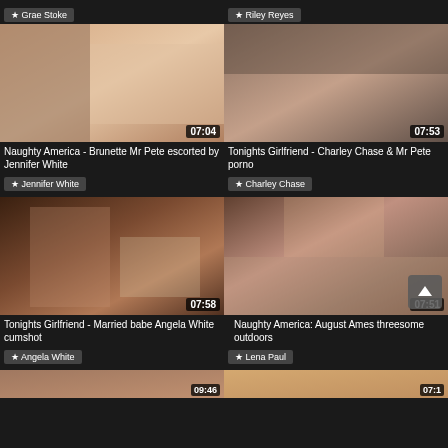★ Grae Stoke
★ Riley Reyes
[Figure (photo): Video thumbnail: adult content, duration 07:04]
[Figure (photo): Video thumbnail: adult content, duration 07:53]
Naughty America - Brunette Mr Pete escorted by Jennifer White
Tonights Girlfriend - Charley Chase & Mr Pete porno
★ Jennifer White
★ Charley Chase
[Figure (photo): Video thumbnail: adult content, duration 07:58]
[Figure (photo): Video thumbnail: adult content, duration 07:51]
Tonights Girlfriend - Married babe Angela White cumshot
Naughty America: August Ames threesome outdoors
★ Angela White
★ Lena Paul
[Figure (photo): Video thumbnail partial: adult content, duration 09:46]
[Figure (photo): Video thumbnail partial: adult content, duration 07:1x]